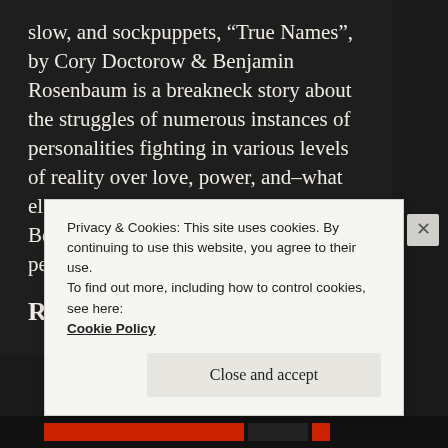slow, and sockpuppets, “True Names”, by Cory Doctorow & Benjamin Rosenbaum is a breakneck story about the struggles of numerous instances of personalities fighting in various levels of reality over love, power, and–what else?–suzeranity over the universe. Beebe is a chaotic civilization of personalities. They [...]
Read More
Privacy & Cookies: This site uses cookies. By continuing to use this website, you agree to their use.
To find out more, including how to control cookies, see here: Cookie Policy
Close and accept